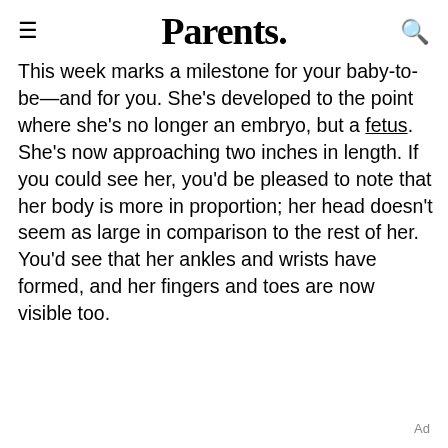Parents.
This week marks a milestone for your baby-to-be—and for you. She's developed to the point where she's no longer an embryo, but a fetus. She's now approaching two inches in length. If you could see her, you'd be pleased to note that her body is more in proportion; her head doesn't seem as large in comparison to the rest of her. You'd see that her ankles and wrists have formed, and her fingers and toes are now visible too.
Ad